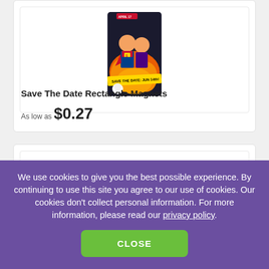[Figure (photo): Save The Date Rectangle Magnets product image showing a cartoon/caricature style design with two people dressed as superheroes]
Save The Date Rectangle Magnets
As low as $0.27
[Figure (photo): Second product card showing an orange rectangular item, partially visible]
We use cookies to give you the best possible experience. By continuing to use this site you agree to our use of cookies. Our cookies don't collect personal information. For more information, please read our privacy policy.
CLOSE